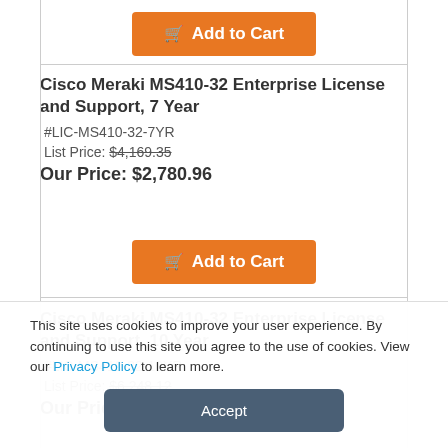Add to Cart (top row button)
Cisco Meraki MS410-32 Enterprise License and Support, 7 Year
#LIC-MS410-32-7YR
List Price: $4,169.35
Our Price: $2,780.96
Add to Cart
Cisco Meraki MS410-32 Enterprise License and Support, 10 Year
#LIC-MS410-32-10YR
List Price: $6,248.12
Our Price: $4,167.50
This site uses cookies to improve your user experience. By continuing to use this site you agree to the use of cookies. View our Privacy Policy to learn more.
Accept